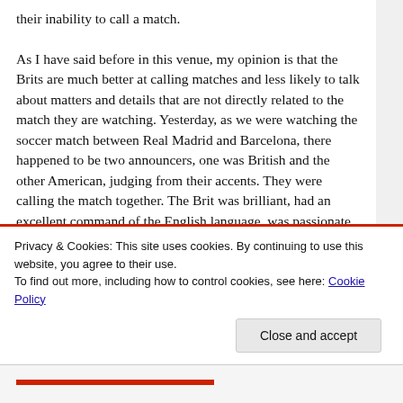their inability to call a match.

As I have said before in this venue, my opinion is that the Brits are much better at calling matches and less likely to talk about matters and details that are not directly related to the match they are watching. Yesterday, as we were watching the soccer match between Real Madrid and Barcelona, there happened to be two announcers, one was British and the other American, judging from their accents. They were calling the match together. The Brit was brilliant, had an excellent command of the English language, was passionate about what he was watching, and every
Privacy & Cookies: This site uses cookies. By continuing to use this website, you agree to their use.
To find out more, including how to control cookies, see here: Cookie Policy
Close and accept